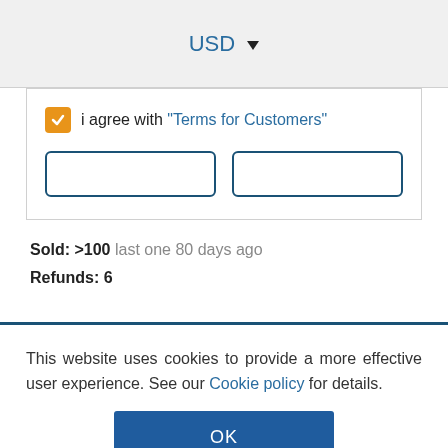USD ▼
i agree with "Terms for Customers"
Sold: >100 last one 80 days ago
Refunds: 6
This website uses cookies to provide a more effective user experience. See our Cookie policy for details.
OK